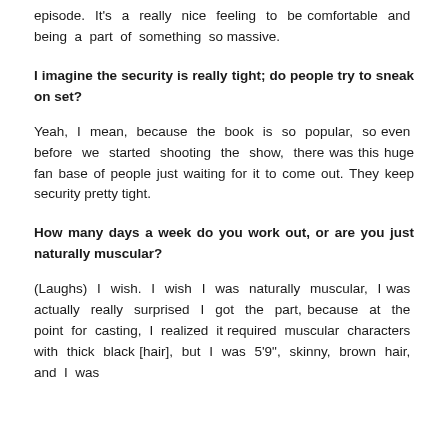episode. It's a really nice feeling to be comfortable and being a part of something so massive.
I imagine the security is really tight; do people try to sneak on set?
Yeah, I mean, because the book is so popular, so even before we started shooting the show, there was this huge fan base of people just waiting for it to come out. They keep security pretty tight.
How many days a week do you work out, or are you just naturally muscular?
(Laughs) I wish. I wish I was naturally muscular, I was actually really surprised I got the part, because at the point for casting, I realized it required muscular characters with thick black [hair], but I was 5'9", skinny, brown hair, and I was